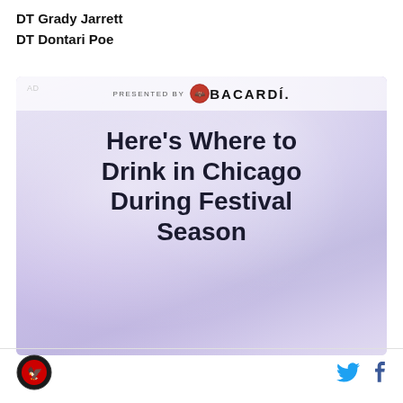DT Grady Jarrett
DT Dontari Poe
[Figure (infographic): Advertisement presented by Bacardi featuring text 'Here's Where to Drink in Chicago During Festival Season' on a purple/lavender hazy background with Bacardi logo at top]
Sports team logo on left; Twitter and Facebook icons on right